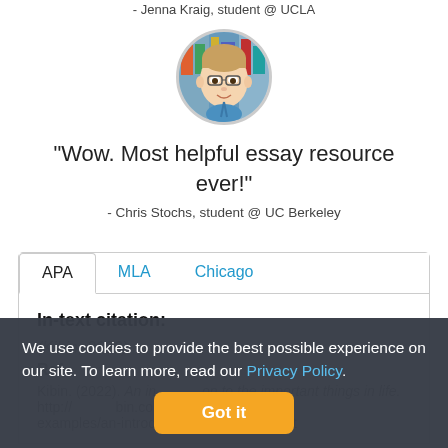- Jenna Kraig, student @ UCLA
[Figure (photo): Circular profile photo of a young man with glasses in front of bookshelves]
"Wow. Most helpful essay resource ever!"
- Chris Stochs, student @ UC Berkeley
APA  MLA  Chicago
In-text citation:
(Kibin, 2022)
References:
Kibin. (2022). An introduction to the important things in life. http://www.kibin.com/essay-examples/an-introduction-to-the-important
We use cookies to provide the best possible experience on our site. To learn more, read our Privacy Policy.
Got it